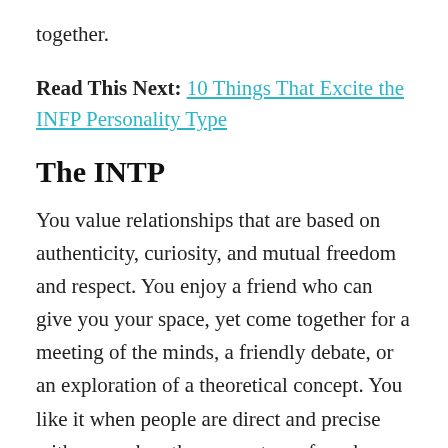together.
Read This Next: 10 Things That Excite the INFP Personality Type
The INTP
You value relationships that are based on authenticity, curiosity, and mutual freedom and respect. You enjoy a friend who can give you your space, yet come together for a meeting of the minds, a friendly debate, or an exploration of a theoretical concept. You like it when people are direct and precise with you, when they accept you for who you are and respect you enough to tell you the truth and listen to your truth. You enjoy discussing observations and theories and figuring out...